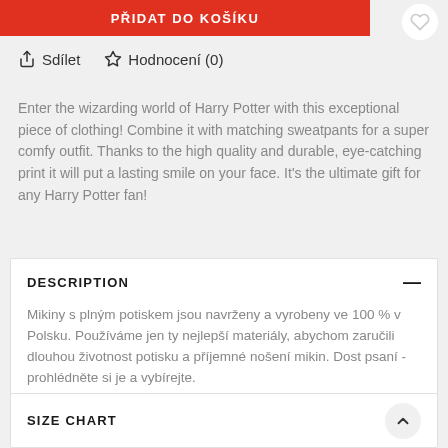PŘIDAT DO KOŠÍKU
Sdílet  Hodnocení (0)
Enter the wizarding world of Harry Potter with this exceptional piece of clothing! Combine it with matching sweatpants for a super comfy outfit. Thanks to the high quality and durable, eye-catching print it will put a lasting smile on your face. It's the ultimate gift for any Harry Potter fan!
DESCRIPTION
Mikiny s plným potiskem jsou navrženy a vyrobeny ve 100 % v Polsku. Používáme jen ty nejlepší materiály, abychom zaručili dlouhou životnost potisku a příjemné nošení mikin. Dost psaní - prohlédněte si je a vybírejte.
SIZE CHART